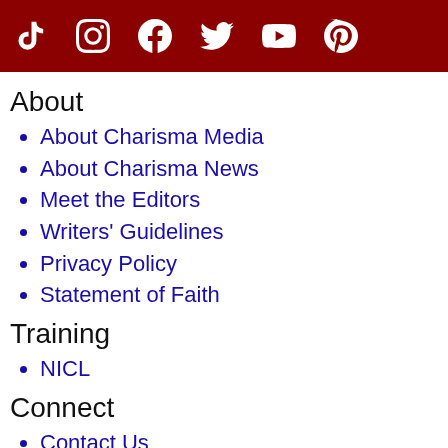Social media icons: TikTok, Instagram, Facebook, Twitter, YouTube, Pinterest
About
About Charisma Media
About Charisma News
Meet the Editors
Writers' Guidelines
Privacy Policy
Statement of Faith
Training
NICL
Connect
Contact Us
Advertise With Us
Customer Service
Newsletters
Charisma News Smartphone App